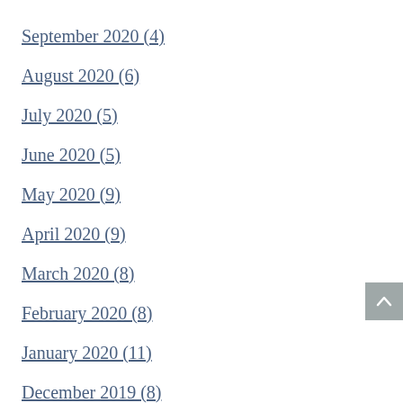September 2020 (4)
August 2020 (6)
July 2020 (5)
June 2020 (5)
May 2020 (9)
April 2020 (9)
March 2020 (8)
February 2020 (8)
January 2020 (11)
December 2019 (8)
November 2019 (8)
October 2019 (10)